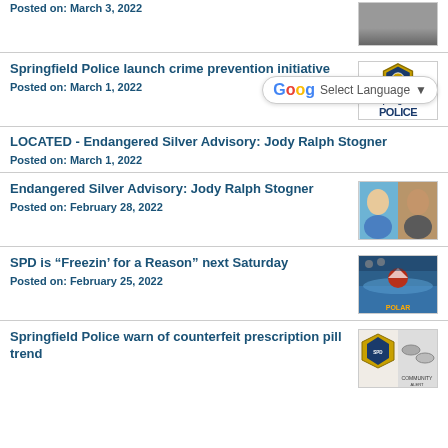Posted on: March 3, 2022
Springfield Police launch crime prevention initiative
Posted on: March 1, 2022
LOCATED - Endangered Silver Advisory: Jody Ralph Stogner
Posted on: March 1, 2022
Endangered Silver Advisory: Jody Ralph Stogner
Posted on: February 28, 2022
SPD is “Freezin’ for a Reason” next Saturday
Posted on: February 25, 2022
Springfield Police warn of counterfeit prescription pill trend